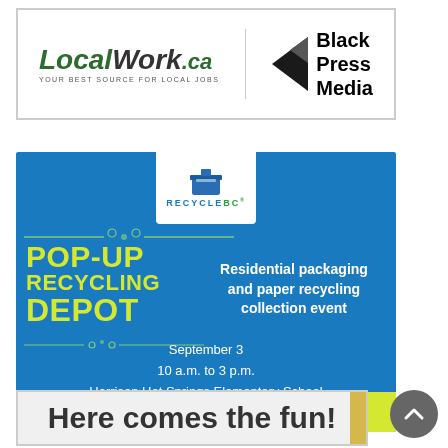[Figure (logo): LocalWork.ca and Black Press Media banner advertisement. LocalWork.ca — Your Best Source for Local Jobs logo on left, Black Press Media logo with arrow icon on right.]
[Figure (infographic): RecycleBC Pop-Up Recycling Depot advertisement on blue background. RecycleBC logo in white box at top center. Text: POP-UP RECYCLING DEPOT in yellow-green. Residential packaging and paper recycling collection event. September 3, 10 a.m. to 3 p.m., Harrison Hot Springs Elementary School. Yellow bar at bottom: Learn more at RecycleBC.ca/PopUp.]
[Figure (other): Gray circular scroll-to-top button with upward chevron arrow.]
Here comes the fun!